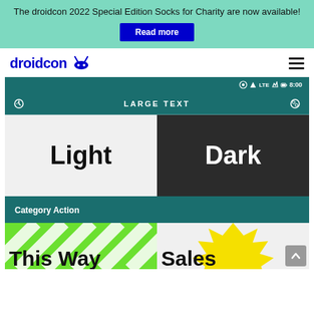The droidcon 2022 Special Edition Socks for Charity are now available! Read more
[Figure (screenshot): droidcon website header with logo and hamburger menu]
[Figure (screenshot): Android app screenshot showing LARGE TEXT app bar with Light and Dark theme panels, Category Action bar, and bottom strips showing 'This Way' and 'Sales' text with decorative backgrounds]